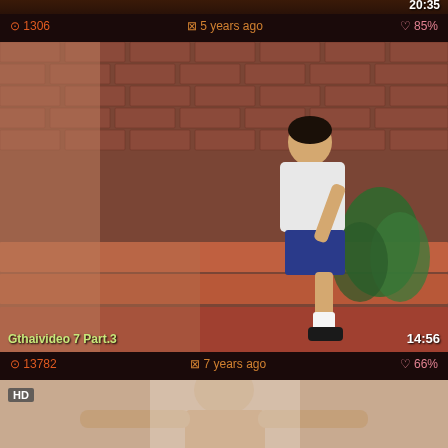[Figure (screenshot): Top video thumbnail (partially visible) with duration 20:35]
⊙ 1306   ⊗ 5 years ago   ♡ 85%
[Figure (photo): Video thumbnail showing a person sitting on outdoor steps near a brick wall with plants. Title: Gthaivideo 7 Part.3, duration 14:56]
⊙ 13782   ⊗ 7 years ago   ♡ 66%
[Figure (photo): HD video thumbnail (partially visible) showing a person standing]